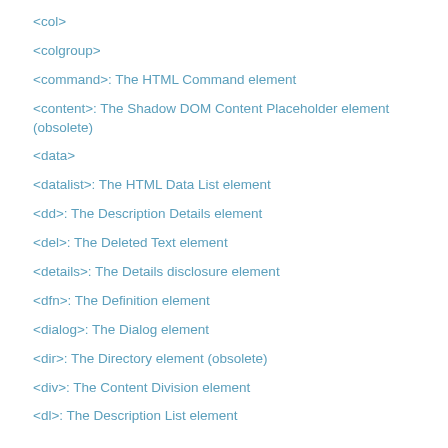<col>
<colgroup>
<command>: The HTML Command element
<content>: The Shadow DOM Content Placeholder element (obsolete)
<data>
<datalist>: The HTML Data List element
<dd>: The Description Details element
<del>: The Deleted Text element
<details>: The Details disclosure element
<dfn>: The Definition element
<dialog>: The Dialog element
<dir>: The Directory element (obsolete)
<div>: The Content Division element
<dl>: The Description List element